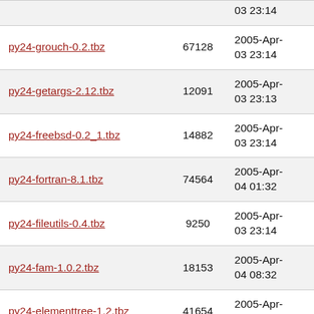| Name | Size | Date |
| --- | --- | --- |
| [partial top row] |  | 03 23:14 |
| py24-grouch-0.2.tbz | 67128 | 2005-Apr-03 23:14 |
| py24-getargs-2.12.tbz | 12091 | 2005-Apr-03 23:13 |
| py24-freebsd-0.2_1.tbz | 14882 | 2005-Apr-03 23:14 |
| py24-fortran-8.1.tbz | 74564 | 2005-Apr-04 01:32 |
| py24-fileutils-0.4.tbz | 9250 | 2005-Apr-03 23:14 |
| py24-fam-1.0.2.tbz | 18153 | 2005-Apr-04 08:32 |
| py24-elementtree-1.2.tbz | 41654 | 2005-Apr-03 23:14 |
| py24-dialog-2.7_1.tbz | 29566 | 2005-Apr-04 05:09 |
| py24-dbus-0.23.2_1.tbz | 49343 | 2005-Apr-04 18:07 |
| py24-cxx-5.1r1.tbz | 36540 | 2005-Apr-03 23:13 |
| py24-ctypes-0.9.6.tbz | 144318 | 2005-Apr-04 03:11 |